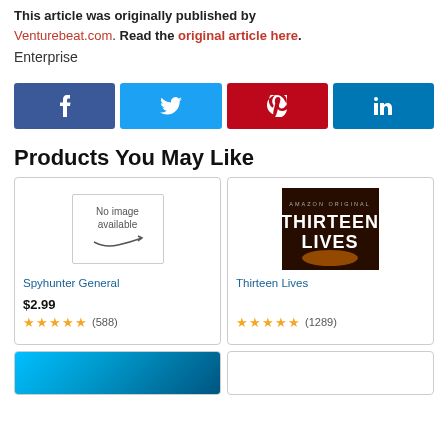This article was originally published by Venturebeat.com. Read the original article here. Enterprise
[Figure (infographic): Four social media share buttons: Facebook (blue), Twitter (light blue), Pinterest (red), LinkedIn (dark blue)]
Products You May Like
[Figure (photo): No image available placeholder with Amazon smile logo for Spyhunter General product]
Spyhunter General
$2.99
★★★★★ (588)
[Figure (photo): Amazon Original Thirteen Lives movie poster showing divers in a cave with text THIRTEEN LIVES]
Thirteen Lives
(1289)
[Figure (photo): Blue gradient product image at bottom left]
[Figure (photo): Empty product card at bottom right]